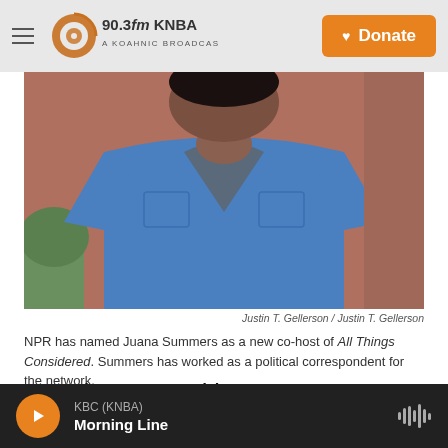90.3fm KNBA — A KOAHNIC BROADCAST STATION | Donate
[Figure (photo): Photo of Juana Summers wearing a blue short-sleeve shirt, standing in front of a reddish-brown wall with greenery visible at bottom left.]
Justin T. Gellerson / Justin T. Gellerson
NPR has named Juana Summers as a new co-host of All Things Considered. Summers has worked as a political correspondent for the network.
NPR has named its veteran reporter Juana Summers as the newest host for its flagship afternoon news program, All Things Considered
KBC (KNBA) Morning Line